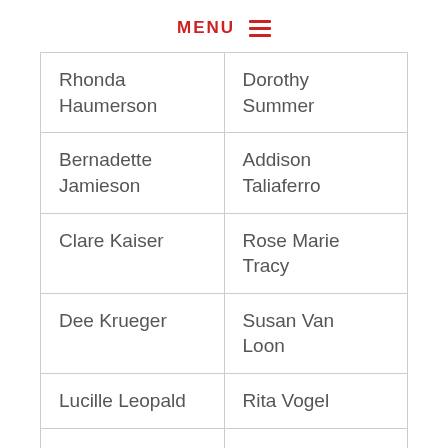MENU
| Rhonda Haumerson | Dorothy Summer |
| Bernadette Jamieson | Addison Taliaferro |
| Clare Kaiser | Rose Marie Tracy |
| Dee Krueger | Susan Van Loon |
| Lucille Leopald | Rita Vogel |
| Cindy Longo | Nancy |